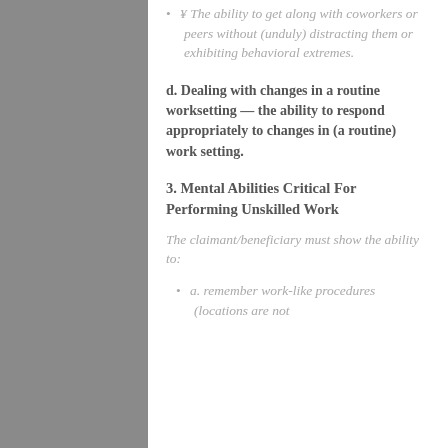¥ The ability to get along with coworkers or peers without (unduly) distracting them or exhibiting behavioral extremes.
d. Dealing with changes in a routine worksetting — the ability to respond appropriately to changes in (a routine) work setting.
3. Mental Abilities Critical For Performing Unskilled Work
The claimant/beneficiary must show the ability to:
a. remember work-like procedures (locations are not